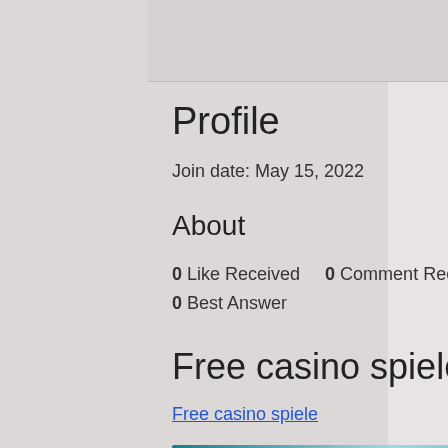Profile
Join date: May 15, 2022
About
0 Like Received    0 Comment Received
0 Best Answer
Free casino spiele
Free casino spiele
[Figure (photo): Blurred photo of people against a teal/blue background]